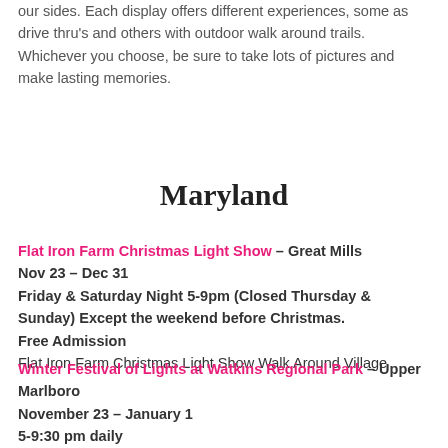our sides. Each display offers different experiences, some as drive thru's and others with outdoor walk around trails. Whichever you choose, be sure to take lots of pictures and make lasting memories.
Maryland
Flat Iron Farm Christmas Light Show – Great Mills
Nov 23 – Dec 31
Friday & Saturday Night 5-9pm (Closed Thursday & Sunday) Except the weekend before Christmas.
Free Admission
Flat Iron Farm Christmas Light Show Walk Around Village
Winter Festival of Lights at Watkins Regional Park – Upper Marlboro
November 23 – January 1
5-9:30 pm daily
Entrance Fee: $10 per car (FREE Entrance Dates: December 3 & 25)